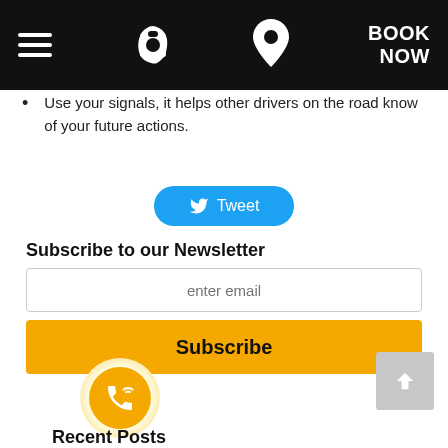Navigation bar with hamburger menu, phone icon, location icon, and BOOK NOW button
Use your signals, it helps other drivers on the road know of your future actions.
[Figure (other): Tweet button with Twitter bird icon]
Subscribe to our Newsletter
[Figure (other): Email input field with placeholder 'enter email' and yellow Subscribe button]
[Figure (other): Yellow phone circle icon (call button) and grey back-to-top arrow button]
Recent Posts